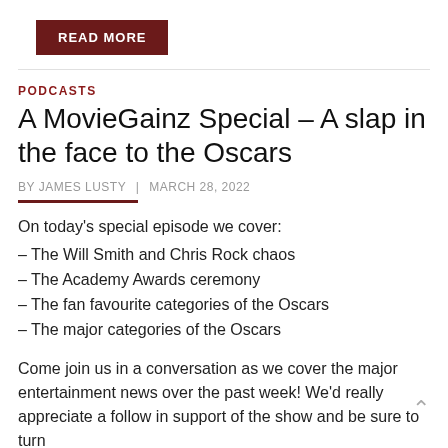[Figure (other): Dark red 'READ MORE' button]
PODCASTS
A MovieGainz Special – A slap in the face to the Oscars
BY JAMES LUSTY | MARCH 28, 2022
On today's special episode we cover:
– The Will Smith and Chris Rock chaos
– The Academy Awards ceremony
– The fan favourite categories of the Oscars
– The major categories of the Oscars
Come join us in a conversation as we cover the major entertainment news over the past week! We'd really appreciate a follow in support of the show and be sure to turn on...